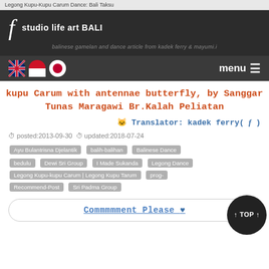Legong Kupu-Kupu Carum Dance: Bali Taksu
[Figure (logo): Site logo: stylized italic f with text 'studio life art BALI' on dark background]
balinese gamelan and dance article from kadek ferry & mayumi.i
[Figure (infographic): Navigation bar with UK flag, Indonesian flag, Japanese flag icons and menu button with hamburger icon]
kupu Carum with antennae butterfly, by Sanggar Tunas Maragawi Br.Kalah Peliatan
🐱 Translator: kadek ferry( f )
posted:2013-09-30  updated:2018-07-24
Ayu Bulantrisna Djelantik
balih-balihan
Balinese Dance
bedulu
Dewi Sri Group
I Made Sukanda
Legong Dance
Legong Kupu-kupu Carum | Legong Kupu Tarum
prog-Recommend-Post
Sri Padma Group
Commmmment Please ♥